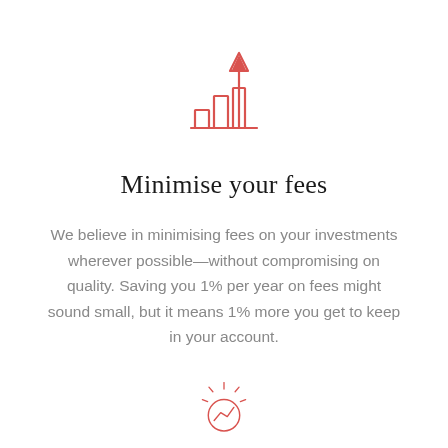[Figure (illustration): Red bar chart icon with three ascending bars and an upward arrow, indicating growth or increasing fees]
Minimise your fees
We believe in minimising fees on your investments wherever possible—without compromising on quality. Saving you 1% per year on fees might sound small, but it means 1% more you get to keep in your account.
[Figure (illustration): Red circular icon with a lightning bolt or trend line, partially visible at the bottom of the page]